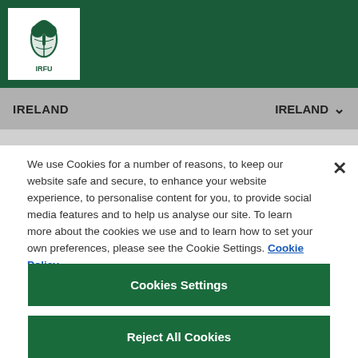[Figure (logo): IRFU logo - shamrock rugby ball emblem with IRFU text on white background, inside dark green header bar]
IRELAND    IRELAND ▾
We use Cookies for a number of reasons, to keep our website safe and secure, to enhance your website experience, to personalise content for you, to provide social media features and to help us analyse our site. To learn more about the cookies we use and to learn how to set your own preferences, please see the Cookie Settings. Cookie Policy
Cookies Settings
Reject All Cookies
Accept All Cookies